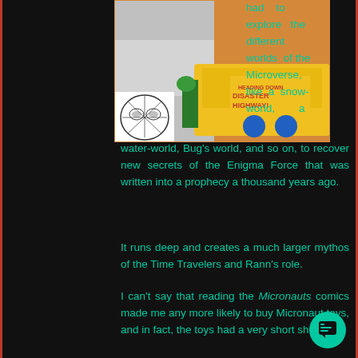[Figure (illustration): Comic book cover image showing 'Heading Down Disaster Highway!' text with colorful action scene and a Spider-Man face in bottom left corner]
had to explore the different worlds of the Microverse, like a snow-world, a water-world, Bug's world, and so on, to recover new secrets of the Enigma Force that was written into a prophecy a thousand years ago.
It runs deep and creates a much larger mythos of the Time Travelers and Rann's role.
I can't say that reading the Micronauts comics made me any more likely to buy Micronaut toys, and in fact, the toys had a very short shelf-life.